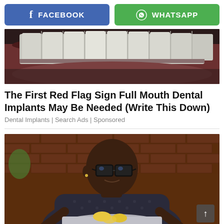[Figure (other): Facebook share button (blue rounded rectangle with 'f' icon and 'FACEBOOK' text in white)]
[Figure (other): WhatsApp share button (green rounded rectangle with WhatsApp icon and 'WHATSAPP' text in white)]
[Figure (photo): Close-up photo of a person's open mouth showing teeth, with facial hair visible]
The First Red Flag Sign Full Mouth Dental Implants May Be Needed (Write This Down)
Dental Implants | Search Ads | Sponsored
[Figure (photo): A man with glasses and a shaved head wearing a dark polka-dot shirt, leaning over a pot of food with lemons, in front of a brick wall background]